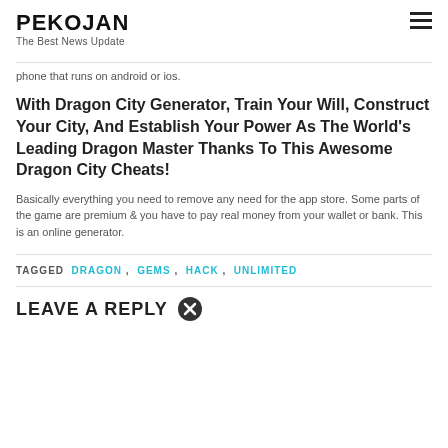PEKOJAN
The Best News Update
phone that runs on android or ios.
With Dragon City Generator, Train Your Will, Construct Your City, And Establish Your Power As The World's Leading Dragon Master Thanks To This Awesome Dragon City Cheats!
Basically everything you need to remove any need for the app store. Some parts of the game are premium & you have to pay real money from your wallet or bank. This is an online generator.
TAGGED  DRAGON ,  GEMS ,  HACK ,  UNLIMITED
LEAVE A REPLY